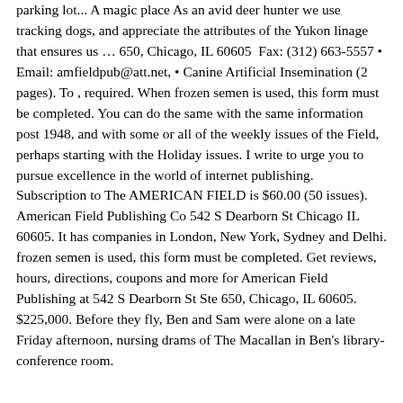parking lot... A magic place As an avid deer hunter we use tracking dogs, and appreciate the attributes of the Yukon linage that ensures us … 650, Chicago, IL 60605  Fax: (312) 663-5557 • Email: amfieldpub@att.net, • Canine Artificial Insemination (2 pages). To , required. When frozen semen is used, this form must be completed. You can do the same with the same information post 1948, and with some or all of the weekly issues of the Field, perhaps starting with the Holiday issues. I write to urge you to pursue excellence in the world of internet publishing. Subscription to The AMERICAN FIELD is $60.00 (50 issues). American Field Publishing Co 542 S Dearborn St Chicago IL 60605. It has companies in London, New York, Sydney and Delhi. frozen semen is used, this form must be completed. Get reviews, hours, directions, coupons and more for American Field Publishing at 542 S Dearborn St Ste 650, Chicago, IL 60605. $225,000. Before they fly, Ben and Sam were alone on a late Friday afternoon, nursing drams of The Macallan in Ben's library-conference room.